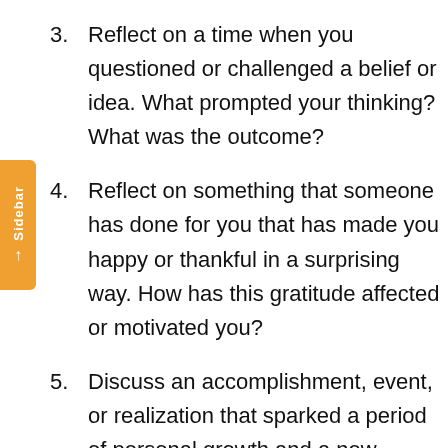3. Reflect on a time when you questioned or challenged a belief or idea. What prompted your thinking? What was the outcome?
4. Reflect on something that someone has done for you that has made you happy or thankful in a surprising way. How has this gratitude affected or motivated you?
5. Discuss an accomplishment, event, or realization that sparked a period of personal growth and a new understanding of yourself or others.